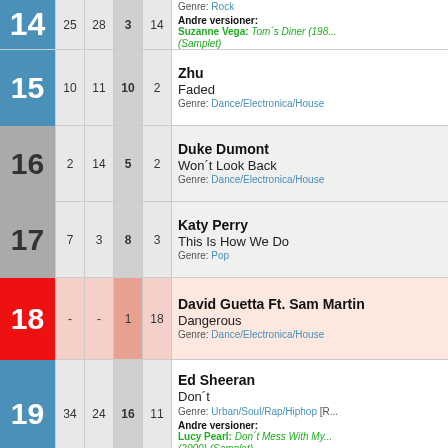| Rank | Col1 | Col2 | Col3 | Col4 | Info |
| --- | --- | --- | --- | --- | --- |
| 14 | 25 | 28 | 3 | 14 | Santana | Genre: Rock | Andre versioner: Suzanne Vega: Tom´s Diner (198... (Samplet) |
| 15 | 10 | 11 | 10 | 2 | Zhu | Faded | Genre: Dance/Electronica/House |
| 16 | 2 | 14 | 5 | 2 | Duke Dumont | Won´t Look Back | Genre: Dance/Electronica/House |
| 17 | 7 | 3 | 8 | 3 | Katy Perry | This Is How We Do | Genre: Pop |
| 18 | - | - | 1 | 18 | David Guetta Ft. Sam Martin | Dangerous | Genre: Dance/Electronica/House |
| 19 | 34 | 24 | 16 | 11 | Ed Sheeran | Don´t | Genre: Urban/Soul/Rap/Hiphop | Andre versioner: Lucy Pearl: Don´t Mess With My... (2000) (Samplet) |
| 20 (partial) |  |  |  |  | Becky G |